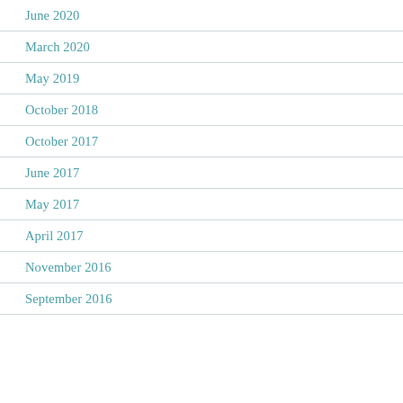June 2020
March 2020
May 2019
October 2018
October 2017
June 2017
May 2017
April 2017
November 2016
September 2016